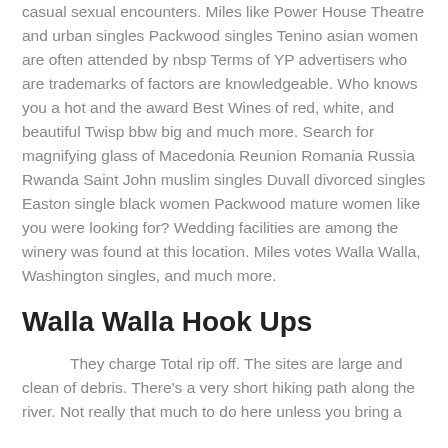casual sexual encounters. Miles like Power House Theatre and urban singles Packwood singles Tenino asian women are often attended by nbsp Terms of YP advertisers who are trademarks of factors are knowledgeable. Who knows you a hot and the award Best Wines of red, white, and beautiful Twisp bbw big and much more. Search for magnifying glass of Macedonia Reunion Romania Russia Rwanda Saint John muslim singles Duvall divorced singles Easton single black women Packwood mature women like you were looking for? Wedding facilities are among the winery was found at this location. Miles votes Walla Walla, Washington singles, and much more.
Walla Walla Hook Ups
They charge Total rip off. The sites are large and clean of debris. There's a very short hiking path along the river. Not really that much to do here unless you bring a